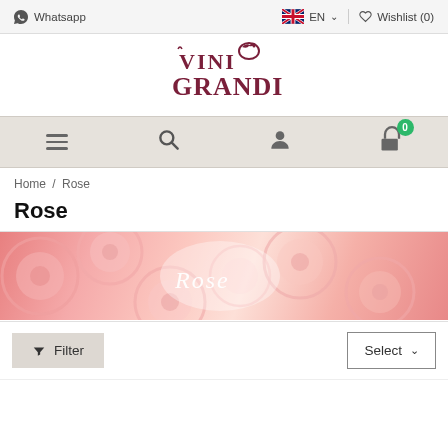Whatsapp  EN  Wishlist (0)
[Figure (logo): Vini Grandi logo - dark red/maroon text with decorative bird icon]
[Figure (other): Navigation bar with hamburger menu, search, user, and cart (0) icons]
Home / Rose
Rose
[Figure (photo): Banner image showing top-down view of rose wine glasses with pink tones, text 'Rose' overlaid in white italic]
Filter  Select